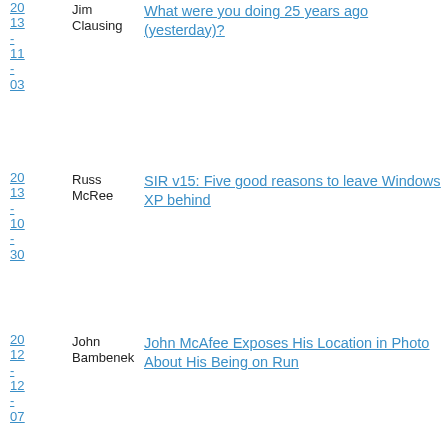2013-11-03 Jim Clausing What were you doing 25 years ago (yesterday)?
2013-10-30 Russ McRee SIR v15: Five good reasons to leave Windows XP behind
2012-12-07 John Bambenek John McAfee Exposes His Location in Photo About His Being on Run